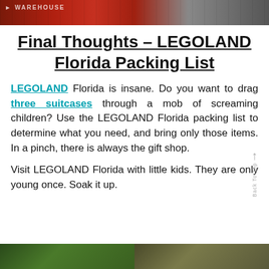[Figure (photo): Top banner image showing a warehouse scene with red equipment, tools, and machinery]
Final Thoughts – LEGOLAND Florida Packing List
LEGOLAND Florida is insane. Do you want to drag three suitcases through a mob of screaming children? Use the LEGOLAND Florida packing list to determine what you need, and bring only those items. In a pinch, there is always the gift shop.
Visit LEGOLAND Florida with little kids. They are only young once. Soak it up.
[Figure (photo): Bottom banner showing two side-by-side outdoor/nature photos]